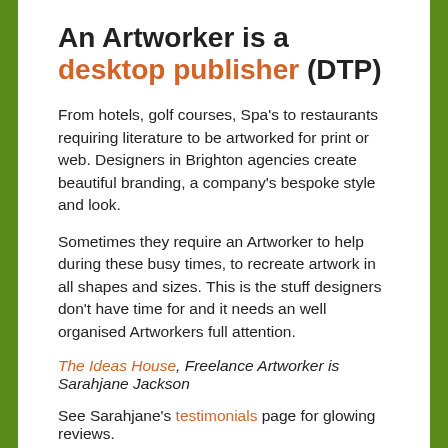An Artworker is a desktop publisher (DTP)
From hotels, golf courses, Spa’s to restaurants requiring literature to be artworked for print or web. Designers in Brighton agencies create beautiful branding, a company’s bespoke style and look.
Sometimes they require an Artworker to help during these busy times, to recreate artwork in all shapes and sizes. This is the stuff designers don’t have time for and it needs an well organised Artworkers full attention.
The Ideas House, Freelance Artworker is Sarahjane Jackson
See Sarahjane’s testimonials page for glowing reviews.